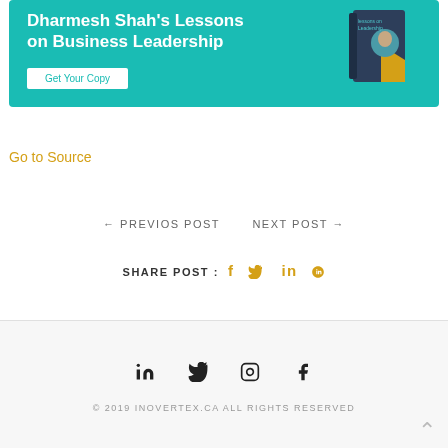[Figure (illustration): Teal banner advertisement for 'Dharmesh Shah's Lessons on Business Leadership' with a Get Your Copy button and a book image on the right]
Go to Source
← PREVIOS POST   NEXT POST →
SHARE POST :  f  t  in  P
© 2019 INOVERTEX.CA ALL RIGHTS RESERVED